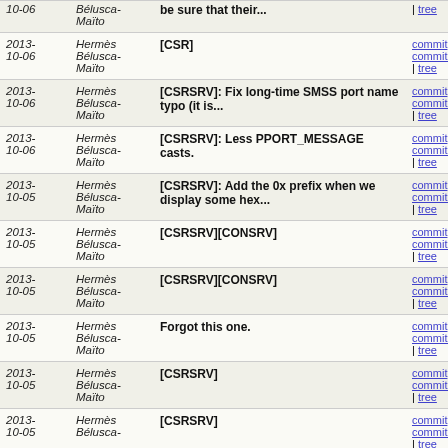| Date | Author | Message | Links |
| --- | --- | --- | --- |
| 10-06 | Bélusca-Maïto | be sure that their... | commit | commitdiff | tree |
| 2013-10-06 | Hermès Bélusca-Maïto | [CSR] | commit | commitdiff | tree |
| 2013-10-06 | Hermès Bélusca-Maïto | [CSRSRV]: Fix long-time SMSS port name typo (it is... | commit | commitdiff | tree |
| 2013-10-06 | Hermès Bélusca-Maïto | [CSRSRV]: Less PPORT_MESSAGE casts. | commit | commitdiff | tree |
| 2013-10-05 | Hermès Bélusca-Maïto | [CSRSRV]: Add the 0x prefix when we display some hex... | commit | commitdiff | tree |
| 2013-10-05 | Hermès Bélusca-Maïto | [CSRSRV][CONSRV] | commit | commitdiff | tree |
| 2013-10-05 | Hermès Bélusca-Maïto | [CSRSRV][CONSRV] | commit | commitdiff | tree |
| 2013-10-05 | Hermès Bélusca-Maïto | Forgot this one. | commit | commitdiff | tree |
| 2013-10-05 | Hermès Bélusca-Maïto | [CSRSRV] | commit | commitdiff | tree |
| 2013-10-05 | Hermès Bélusca- | [CSRSRV] | commit | commitdiff | tree |